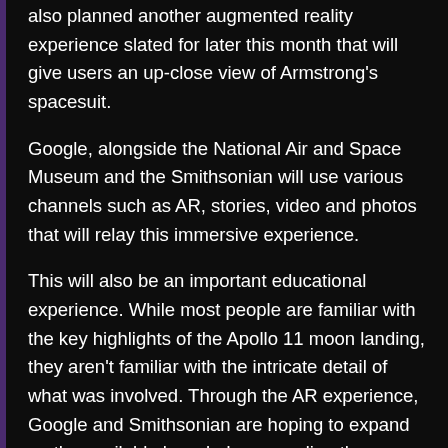also planned another augmented reality experience slated for later this month that will give users an up-close view of Armstrong's spacesuit.
Google, alongside the National Air and Space Museum and the Smithsonian will use various channels such as AR, stories, video and photos that will relay this immersive experience.
This will also be an important educational experience. While most people are familiar with the key highlights of the Apollo 11 moon landing, they aren't familiar with the intricate detail of what was involved. Through the AR experience, Google and Smithsonian are hoping to expand on the available knowledge regarding the historic event using 20 new visual stories on Google Search that will leverage videos and photos to bring out the lesser known details and players in the event.